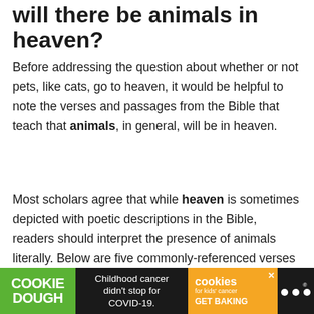will there be animals in heaven?
Before addressing the question about whether or not pets, like cats, go to heaven, it would be helpful to note the verses and passages from the Bible that teach that animals, in general, will be in heaven.
Most scholars agree that while heaven is sometimes depicted with poetic descriptions in the Bible, readers should interpret the presence of animals literally. Below are five commonly-referenced verses that teach that animals are in heaven.
[Figure (other): Advertisement banner: Cookie Dough (green box), Childhood cancer didn't stop for COVID-19., Cookies for kids' cancer GET BAKING (orange box), website logo dots]